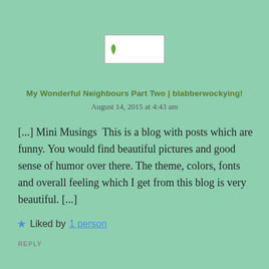[Figure (logo): Blog logo image placeholder with a small green leaf icon, displayed in a white bordered box]
My Wonderful Neighbours Part Two | blabberwockying!
August 14, 2015 at 4:43 am
[...] Mini Musings  This is a blog with posts which are funny. You would find beautiful pictures and good sense of humor over there. The theme, colors, fonts and overall feeling which I get from this blog is very beautiful. [...]
★ Liked by 1 person
REPLY